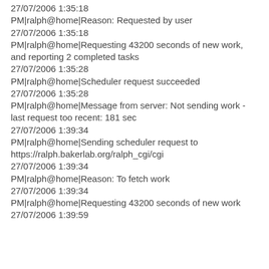27/07/2006 1:35:18 PM|ralph@home|Reason: Requested by user
27/07/2006 1:35:18 PM|ralph@home|Requesting 43200 seconds of new work, and reporting 2 completed tasks
27/07/2006 1:35:28 PM|ralph@home|Scheduler request succeeded
27/07/2006 1:35:28 PM|ralph@home|Message from server: Not sending work - last request too recent: 181 sec
27/07/2006 1:39:34 PM|ralph@home|Sending scheduler request to https://ralph.bakerlab.org/ralph_cgi/cgi
27/07/2006 1:39:34 PM|ralph@home|Reason: To fetch work
27/07/2006 1:39:34 PM|ralph@home|Requesting 43200 seconds of new work
27/07/2006 1:39:59